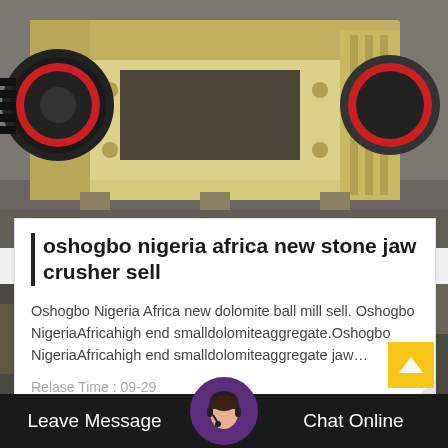[Figure (photo): Industrial jaw crusher machine, beige/yellow colored, in a factory setting viewed from the side showing large flywheel and body]
oshogbo nigeria africa new stone jaw crusher sell
Oshogbo Nigeria Africa new dolomite ball mill sell. Oshogbo NigeriaAfricahigh end smalldolomiteaggregate.Oshogbo NigeriaAfricahigh end smalldolomiteaggregate jaw…
Relase Time : 09-29
[Figure (photo): Industrial mining/crushing machinery with red and yellow flywheels in a factory, bottom portion of page]
Leave Message   Chat Online